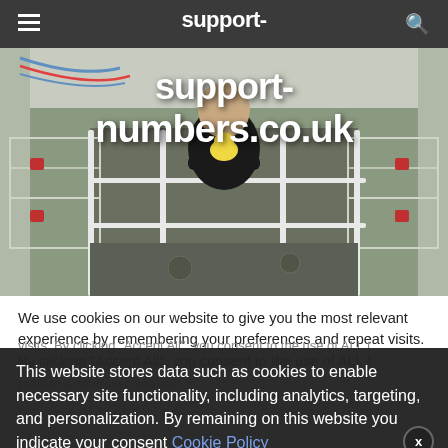support-numbers.co.uk
[Figure (photo): Person in a black Tennessee hoodie holding a yellow chick inside an indoor poultry facility with metal wire pens and red feeders.]
We use cookies on our website to give you the most relevant experience by remembering your preferences and repeat visits. By clicking "Accept All", you consent to the use of ALL the cookies. However, you may visit "Cookie Settings" to provide a controlled consent.
This website stores data such as cookies to enable necessary site functionality, including analytics, targeting, and personalization. By remaining on this website you indicate your consent Cookie Policy